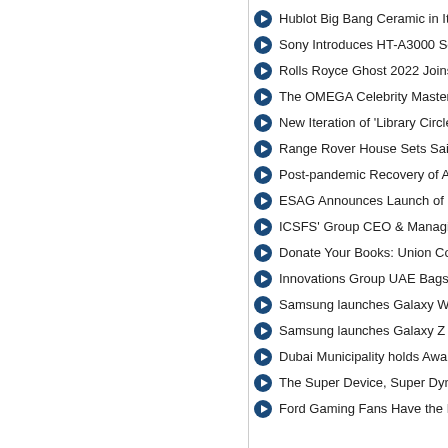Hublot Big Bang Ceramic in Its Inte…
Sony Introduces HT-A3000 Sound…
Rolls Royce Ghost 2022 Joins Nirv…
The OMEGA Celebrity Masters Be…
New Iteration of 'Library Circles' at…
Range Rover House Sets Sail for S…
Post-pandemic Recovery of Aviatio…
ESAG Announces Launch of Flags…
ICSFS' Group CEO & Managing D…
Donate Your Books: Union Coop la…
Innovations Group UAE Bags the R…
Samsung launches Galaxy Watch5…
Samsung launches Galaxy Z Flip4…
Dubai Municipality holds Awarenes…
The Super Device, Super Dynamic…
Ford Gaming Fans Have the Best …